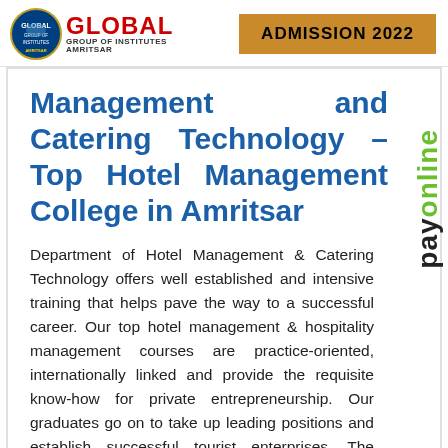[Figure (logo): Global Group of Institutes Amritsar logo with circular emblem and red GLOBAL text]
ADMISSION 2022
Management and Catering Technology – Top Hotel Management College in Amritsar
Department of Hotel Management & Catering Technology offers well established and intensive training that helps pave the way to a successful career. Our top hotel management & hospitality management courses are practice-oriented, internationally linked and provide the requisite know-how for private entrepreneurship. Our graduates go on to take up leading positions and establish successful tourist enterprises. The courses not only